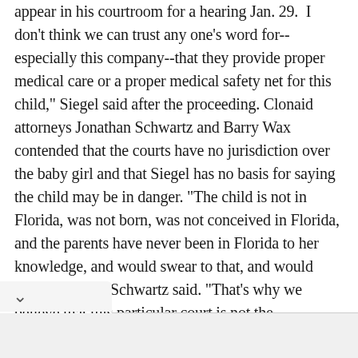appear in his courtroom for a hearing Jan. 29.  "I don't think we can trust any one's word for--especially this company--that they provide proper medical care or a proper medical safety net for this child," Siegel said after the proceeding. Clonaid attorneys Jonathan Schwartz and Barry Wax contended that the courts have no jurisdiction over the baby girl and that Siegel has no basis for saying the child may be in danger. "The child is not in Florida, was not born, was not conceived in Florida, and the parents have never been in Florida to her knowledge, and would swear to that, and would testify to that," Schwartz said. "That's why we believe that this particular court is not the appropriate jurisdiction."